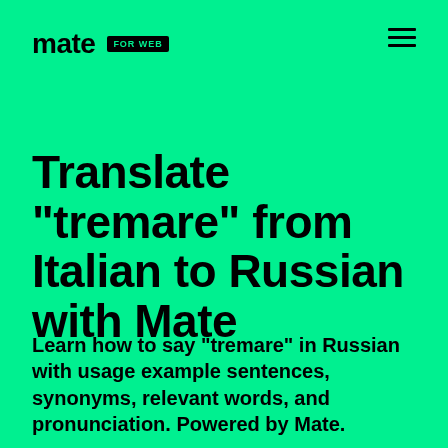mate FOR WEB
Translate "tremare" from Italian to Russian with Mate
Learn how to say "tremare" in Russian with usage example sentences, synonyms, relevant words, and pronunciation. Powered by Mate.